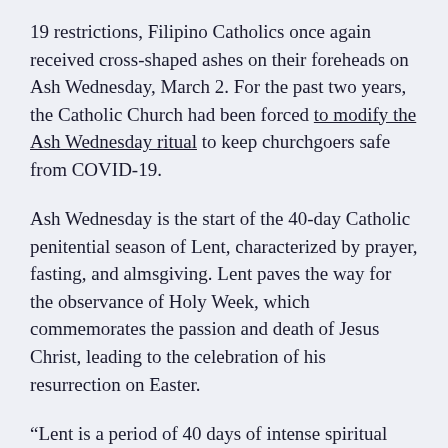19 restrictions, Filipino Catholics once again received cross-shaped ashes on their foreheads on Ash Wednesday, March 2. For the past two years, the Catholic Church had been forced to modify the Ash Wednesday ritual to keep churchgoers safe from COVID-19.
Ash Wednesday is the start of the 40-day Catholic penitential season of Lent, characterized by prayer, fasting, and almsgiving. Lent paves the way for the observance of Holy Week, which commemorates the passion and death of Jesus Christ, leading to the celebration of his resurrection on Easter.
“Lent is a period of 40 days of intense spiritual preparation, interior preparation of our hearts, for the glorious celebration of the passion,